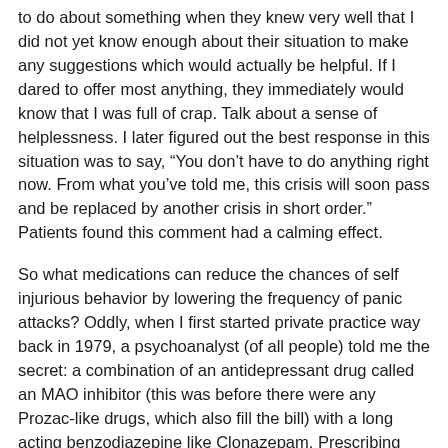to do about something when they knew very well that I did not yet know enough about their situation to make any suggestions which would actually be helpful. If I dared to offer most anything, they immediately would know that I was full of crap. Talk about a sense of helplessness. I later figured out the best response in this situation was to say, “You don’t have to do anything right now. From what you’ve told me, this crisis will soon pass and be replaced by another crisis in short order.” Patients found this comment had a calming effect.
So what medications can reduce the chances of self injurious behavior by lowering the frequency of panic attacks? Oddly, when I first started private practice way back in 1979, a psychoanalyst (of all people) told me the secret: a combination of an antidepressant drug called an MAO inhibitor (this was before there were any Prozac-like drugs, which also fill the bill) with a long acting benzodiazepine like Clonazepam. Prescribing these worked far more quickly for reducing or even stopping self injurious behavior episodes than months of dialectical behavior therapy, and was quite effective.